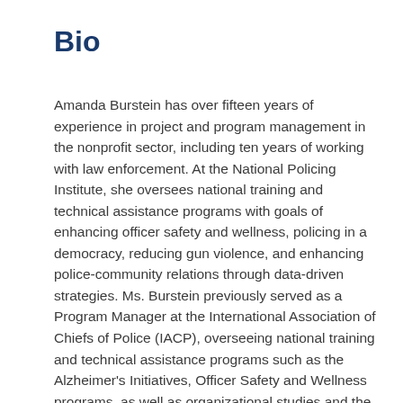Bio
Amanda Burstein has over fifteen years of experience in project and program management in the nonprofit sector, including ten years of working with law enforcement. At the National Policing Institute, she oversees national training and technical assistance programs with goals of enhancing officer safety and wellness, policing in a democracy, reducing gun violence, and enhancing police-community relations through data-driven strategies. Ms. Burstein previously served as a Program Manager at the International Association of Chiefs of Police (IACP), overseeing national training and technical assistance programs such as the Alzheimer's Initiatives, Officer Safety and Wellness programs, as well as organizational studies and the Center for Research and Policy. Working closely with all levels of government, law